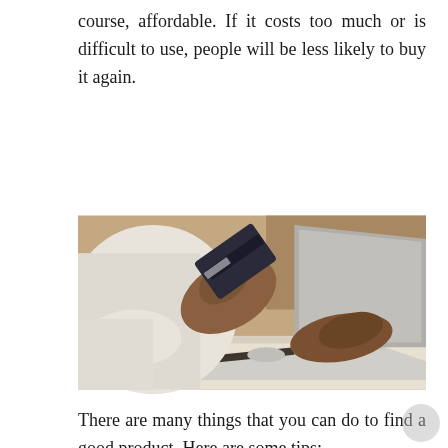course, affordable. If it costs too much or is difficult to use, people will be less likely to buy it again.
[Figure (photo): Person holding a credit card in one hand while typing on a laptop keyboard, suggesting online shopping or e-commerce.]
There are many things that you can do to find a good product. Here are some tips: